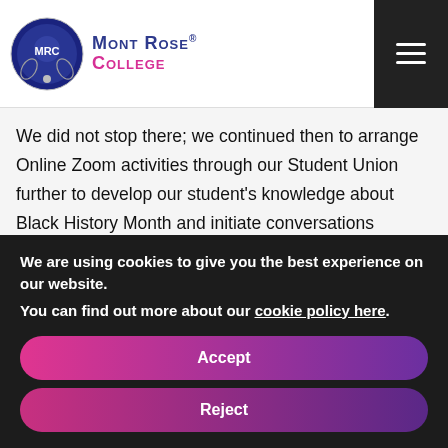Mont Rose College
We did not stop there; we continued then to arrange Online Zoom activities through our Student Union further to develop our student's knowledge about Black History Month and initiate conversations around the subject.
Mont Rose College...
We are using cookies to give you the best experience on our website.
You can find out more about our cookie policy here.